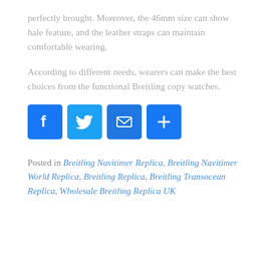perfectly brought. Moreover, the 46mm size can show hale feature, and the leather straps can maintain comfortable wearing.
According to different needs, wearers can make the best choices from the functional Breitling copy watches.
[Figure (other): Social sharing icons: Facebook (blue), Twitter (light blue), Email (blue), Share/Plus (blue)]
Posted in Breitling Navitimer Replica, Breitling Navitimer World Replica, Breitling Replica, Breitling Transocean Replica, Wholesale Breitling Replica UK